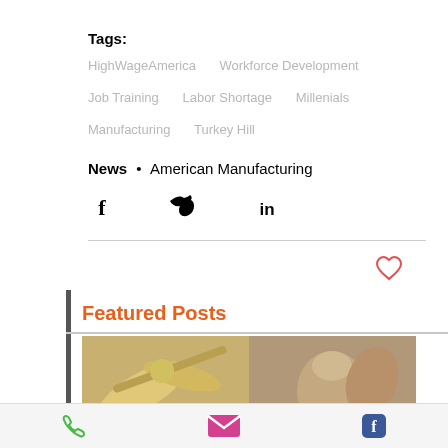Tags:
HighWageAmerica   Workforce Development
Job Training   Labor Shortage   Millenials
Manufacturing   Turkey Hill
News • American Manufacturing
[Figure (illustration): Social media share icons: Facebook (f), Twitter (bird), LinkedIn (in)]
[Figure (illustration): Heart/like icon in coral/red outline style]
Featured Posts
[Figure (photo): Manufacturing or crafts related photo showing wooden implements and pottery/ceramics being worked on]
[Figure (illustration): Footer bar with phone icon (green), email icon (pink/magenta envelope), and Facebook icon (blue)]